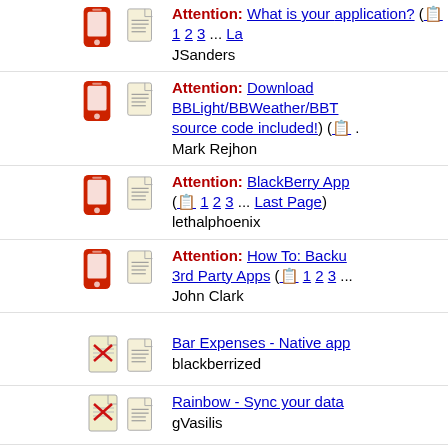Attention: What is your application? (1 2 3 ... La JSanders
Attention: Download BBLight/BBWeather/BBT source code included!) (... Mark Rejhon
Attention: BlackBerry App ( 1 2 3 ... Last Page) lethalphoenix
Attention: How To: Backu 3rd Party Apps ( 1 2 3 ... John Clark
Bar Expenses - Native app blackberrized
Rainbow - Sync your data gVasilis
iTavi - Three backgammon gVasilis